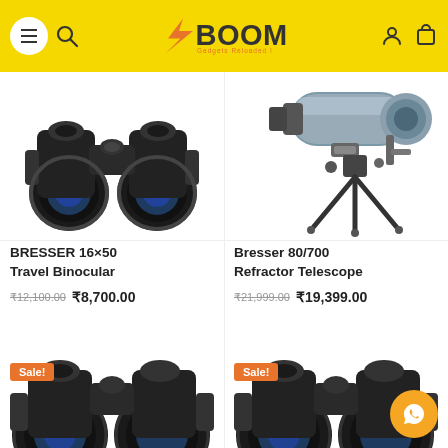XBOOM Gadgets Reloaded
[Figure (photo): BRESSER 16x50 Travel Binocular product photo on white background]
BRESSER 16×50 Travel Binocular
₹12,100.00  ₹8,700.00
[Figure (photo): Bresser 80/700 Refractor Telescope on tripod mount product photo]
Bresser 80/700 Refractor Telescope
₹21,999.00  ₹19,399.00
[Figure (photo): Binoculars product photo with Sale badge - partially visible at bottom left]
[Figure (photo): Binoculars product photo with Sale badge - partially visible at bottom right]